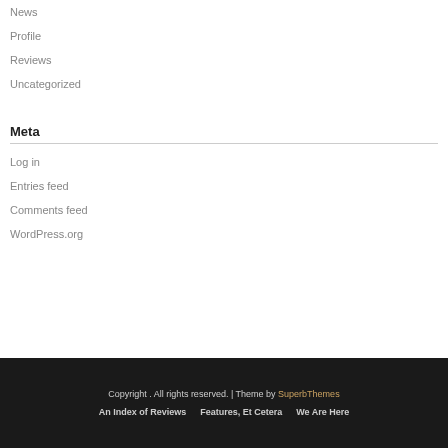News
Profile
Reviews
Uncategorized
Meta
Log in
Entries feed
Comments feed
WordPress.org
Copyright . All rights reserved. | Theme by SuperbThemes
An Index of Reviews   Features, Et Cetera   We Are Here